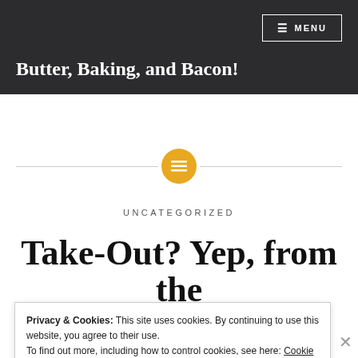≡ MENU
Butter, Baking, and Bacon!
[Figure (other): Horizontal divider line with a circular orange/yellow icon containing a list/text symbol in the center]
UNCATEGORIZED
Take-Out? Yep, from the
Privacy & Cookies: This site uses cookies. By continuing to use this website, you agree to their use.
To find out more, including how to control cookies, see here: Cookie Policy
Close and accept